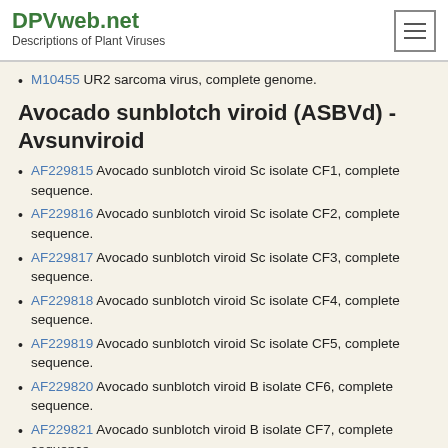DPVweb.net - Descriptions of Plant Viruses
M10455 UR2 sarcoma virus, complete genome.
Avocado sunblotch viroid (ASBVd) - Avsunviroid
AF229815 Avocado sunblotch viroid Sc isolate CF1, complete sequence.
AF229816 Avocado sunblotch viroid Sc isolate CF2, complete sequence.
AF229817 Avocado sunblotch viroid Sc isolate CF3, complete sequence.
AF229818 Avocado sunblotch viroid Sc isolate CF4, complete sequence.
AF229819 Avocado sunblotch viroid Sc isolate CF5, complete sequence.
AF229820 Avocado sunblotch viroid B isolate CF6, complete sequence.
AF229821 Avocado sunblotch viroid B isolate CF7, complete sequence.
AF229822 Avocado sunblotch viroid B isolate CF8, complete sequence.